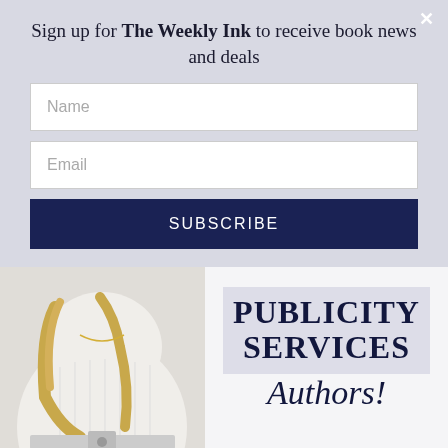Sign up for The Weekly Ink to receive book news and deals
Name
Email
SUBSCRIBE
[Figure (photo): Woman in white knit sweater, lower half of face and torso visible, blonde hair, white belt, with SLINGER watermark]
PUBLICITY SERVICES
Authors!